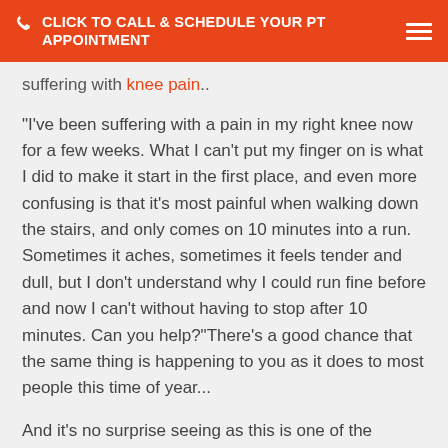CLICK TO CALL & SCHEDULE YOUR PT APPOINTMENT
suffering with knee pain..
"I've been suffering with a pain in my right knee now for a few weeks. What I can't put my finger on is what I did to make it start in the first place, and even more confusing is that it's most painful when walking down the stairs, and only comes on 10 minutes into a run. Sometimes it aches, sometimes it feels tender and dull, but I don't understand why I could run fine before and now I can't without having to stop after 10 minutes. Can you help?"There's a good chance that the same thing is happening to you as it does to most people this time of year...
And it's no surprise seeing as this is one of the